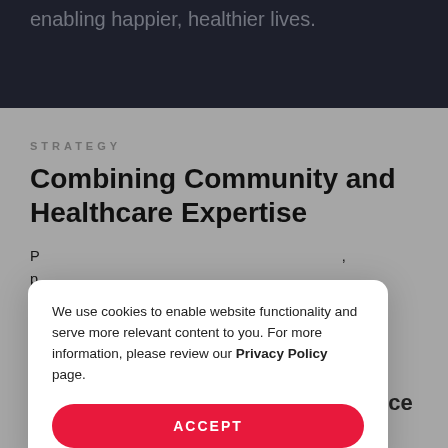enabling happier, healthier lives.
STRATEGY
Combining Community and Healthcare Expertise
We use cookies to enable website functionality and serve more relevant content to you. For more information, please review our Privacy Policy page.
ACCEPT
empathetic and inclusive experience for